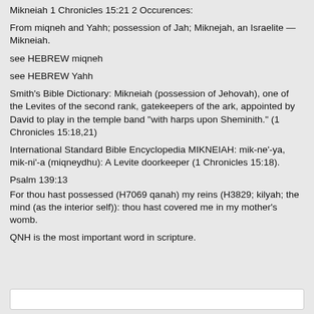Mikneiah 1 Chronicles 15:21 2 Occurences:
From miqneh and Yahh; possession of Jah; Miknejah, an Israelite — Mikneiah.
see HEBREW miqneh
see HEBREW Yahh
Smith's Bible Dictionary: Mikneiah (possession of Jehovah), one of the Levites of the second rank, gatekeepers of the ark, appointed by David to play in the temple band "with harps upon Sheminith." (1 Chronicles 15:18,21)
International Standard Bible Encyclopedia MIKNEIAH: mik-ne'-ya, mik-ni'-a (miqneydhu): A Levite doorkeeper (1 Chronicles 15:18).
Psalm 139:13
For thou hast possessed (H7069 qanah) my reins (H3829; kilyah; the mind (as the interior self)): thou hast covered me in my mother's womb.
QNH is the most important word in scripture.